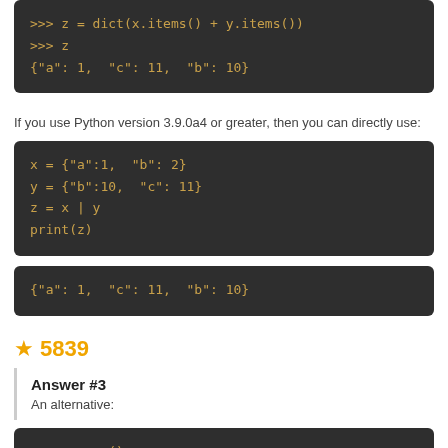[Figure (screenshot): Dark code block showing Python interactive session: >>> z = dict(x.items() + y.items()) >>> z {"a": 1, "c": 11, "b": 10}]
If you use Python version 3.9.0a4 or greater, then you can directly use:
[Figure (screenshot): Dark code block showing Python code: x = {"a":1, "b": 2} y = {"b":10, "c": 11} z = x | y print(z)]
[Figure (screenshot): Dark code block showing output: {"a": 1, "c": 11, "b": 10}]
★ 5839
Answer #3
An alternative:
[Figure (screenshot): Dark code block partially visible showing: z = x.copy()]